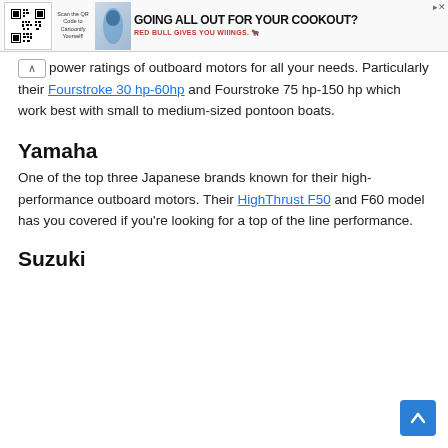[Figure (other): Advertisement banner: QR code on left with text 'Scan the QR Code to Cartoonify Yourself!', Red Bull branded ad reading 'GOING ALL OUT FOR YOUR COOKOUT?' and 'RED BULL GIVES YOU WIIINGS.' with Red Bull logo]
power ratings of outboard motors for all your needs. Particularly their Fourstroke 30 hp-60hp and Fourstroke 75 hp-150 hp which work best with small to medium-sized pontoon boats.
Yamaha
One of the top three Japanese brands known for their high-performance outboard motors. Their HighThrust F50 and F60 model has you covered if you're looking for a top of the line performance.
Suzuki